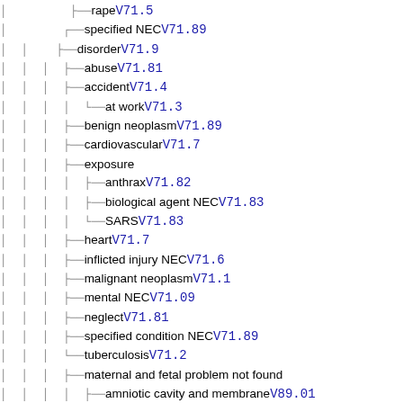rape V71.5
specified NEC V71.89
disorder V71.9
abuse V71.81
accident V71.4
at work V71.3
benign neoplasm V71.89
cardiovascular V71.7
exposure
anthrax V71.82
biological agent NEC V71.83
SARS V71.83
heart V71.7
inflicted injury NEC V71.6
malignant neoplasm V71.1
mental NEC V71.09
neglect V71.81
specified condition NEC V71.89
tuberculosis V71.2
maternal and fetal problem not found
amniotic cavity and membrane V89.01
cervical shortening V89.05
fetal anomaly V89.03